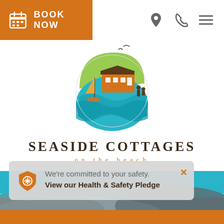[Figure (logo): Orange 'BOOK NOW' button with calendar icon on left side of navigation bar]
[Figure (logo): Seaside Cottages on the beach logo — circular design with cottage, sailboat, water, green arc, seagulls]
SEASIDE COTTAGES
on the beach
[Figure (photo): Beach scene with blue water and rocky shore in background]
We're committed to your safety.
View our Health & Safety Pledge